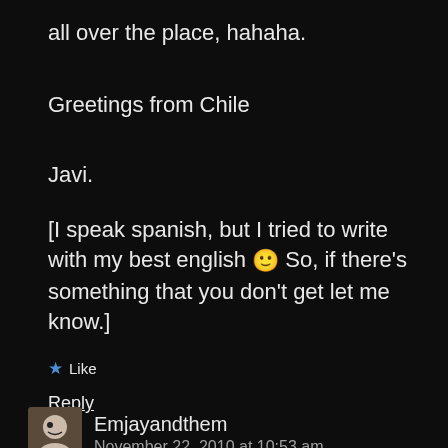all over the place, hahaha.
Greetings from Chile
Javi.
[I speak spanish, but I tried to write with my best english 🙂 So, if there's something that you don't get let me know.]
★ Like
Reply
Emjayandthem
November 22, 2010 at 10:53 am